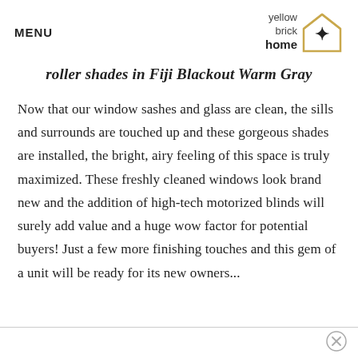MENU | yellow brick home logo
roller shades in Fiji Blackout Warm Gray
Now that our window sashes and glass are clean, the sills and surrounds are touched up and these gorgeous shades are installed, the bright, airy feeling of this space is truly maximized. These freshly cleaned windows look brand new and the addition of high-tech motorized blinds will surely add value and a huge wow factor for potential buyers! Just a few more finishing touches and this gem of a unit will be ready for its new owners...